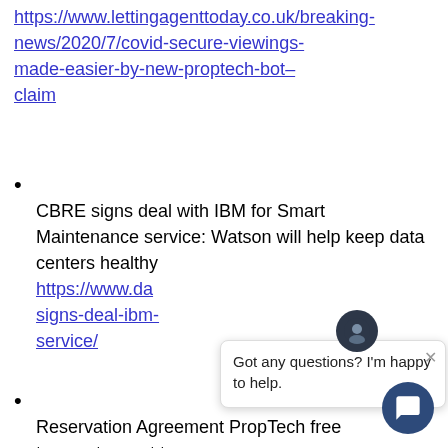https://www.lettingagenttoday.co.uk/breaking-news/2020/7/covid-secure-viewings-made-easier-by-new-proptech-bot-claim
CBRE signs deal with IBM for Smart Maintenance service: Watson will help keep data centers healthy https://www.da signs-deal-ibm- service/
Reservation Agreement PropTech free to agents – not to consumers